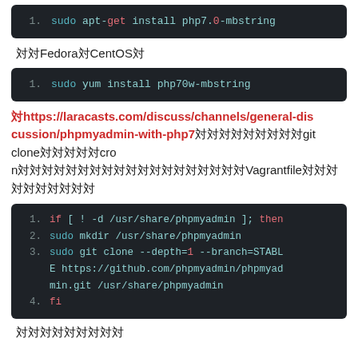[Figure (screenshot): Code block showing: 1. sudo apt-get install php7.0-mbstring]
対対FedoraCentOS対
[Figure (screenshot): Code block showing: 1. sudo yum install php70w-mbstring]
対https://laracasts.com/discuss/channels/general-discussion/phpmyadmin-with-php7対対対対対対対対git clone対対対対対cronが対対対対対対対対対対対対対対対対Vagrantfile対対対対対対対対対
[Figure (screenshot): Code block showing: 1. if [ ! -d /usr/share/phpmyadmin ]; then  2. sudo mkdir /usr/share/phpmyadmin  3. sudo git clone --depth=1 --branch=STABLE https://github.com/phpmyadmin/phpmyadmin.git /usr/share/phpmyadmin  4. fi]
対対対対対対対対対